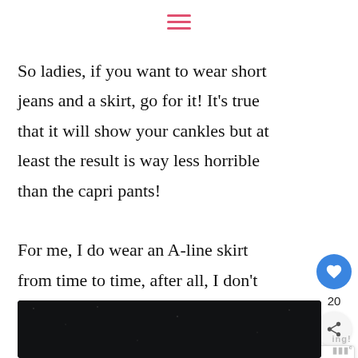☰ (hamburger menu icon)
So ladies, if you want to wear short jeans and a skirt, go for it! It's true that it will show your cankles but at least the result is way less horrible than the capri pants!
For me, I do wear an A-line skirt from time to time, after all, I don't want to
[Figure (infographic): SHE CAN STEM advertisement banner with dark background and bold white text]
[Figure (infographic): WHAT'S NEXT arrow label with thumbnail image and text '7 TIPS on how to wear...']